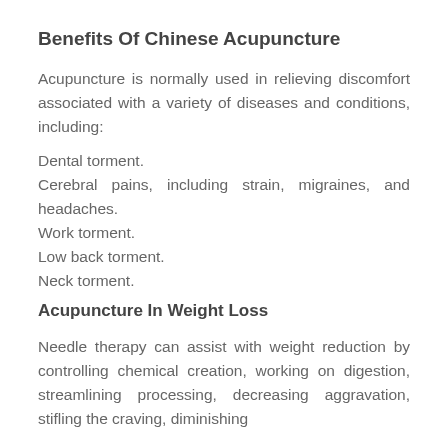Benefits Of Chinese Acupuncture
Acupuncture is normally used in relieving discomfort associated with a variety of diseases and conditions, including:
Dental torment.
Cerebral pains, including strain, migraines, and headaches.
Work torment.
Low back torment.
Neck torment.
Acupuncture In Weight Loss
Needle therapy can assist with weight reduction by controlling chemical creation, working on digestion, streamlining processing, decreasing aggravation, stifling the craving, diminishing